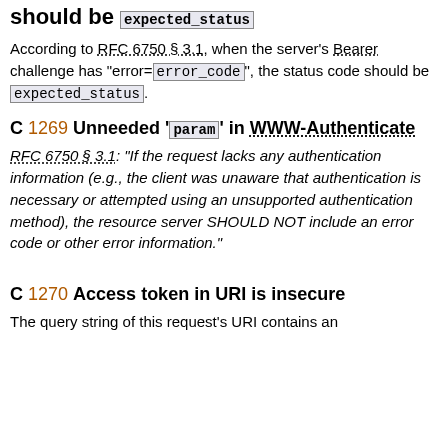should be expected_status
According to RFC 6750 § 3.1, when the server's Bearer challenge has "error=error_code", the status code should be expected_status.
C 1269 Unneeded 'param' in WWW-Authenticate
RFC 6750 § 3.1: "If the request lacks any authentication information (e.g., the client was unaware that authentication is necessary or attempted using an unsupported authentication method), the resource server SHOULD NOT include an error code or other error information."
C 1270 Access token in URI is insecure
The query string of this request's URI contains an